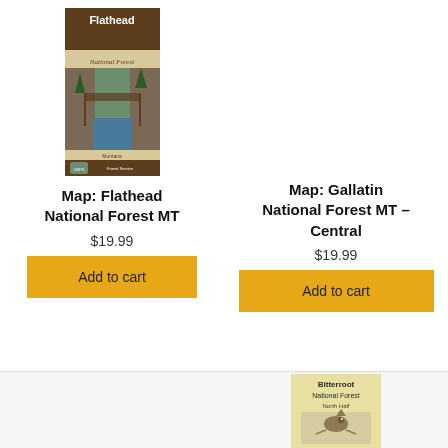[Figure (photo): Book cover: Flathead National Forest map, brown and green cover with forest and river canyon photo]
Map: Flathead National Forest MT
$19.99
Add to cart
Map: Gallatin National Forest MT – Central
$19.99
Add to cart
[Figure (photo): Book cover: Bitterroot National Forest map, yellow cover with bird illustration]